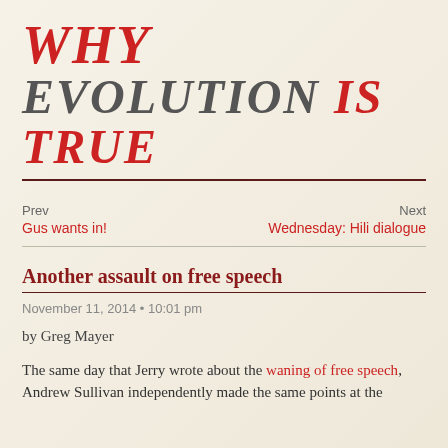WHY EVOLUTION IS TRUE
Prev
Gus wants in!
Next
Wednesday: Hili dialogue
Another assault on free speech
November 11, 2014 • 10:01 pm
by Greg Mayer
The same day that Jerry wrote about the waning of free speech, Andrew Sullivan independently made the same points at the